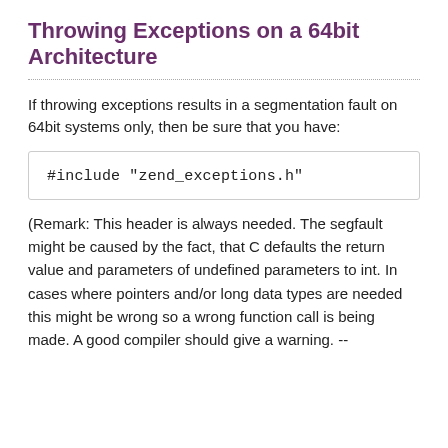Throwing Exceptions on a 64bit Architecture
If throwing exceptions results in a segmentation fault on 64bit systems only, then be sure that you have:
#include "zend_exceptions.h"
(Remark: This header is always needed. The segfault might be caused by the fact, that C defaults the return value and parameters of undefined parameters to int. In cases where pointers and/or long data types are needed this might be wrong so a wrong function call is being made. A good compiler should give a warning. --